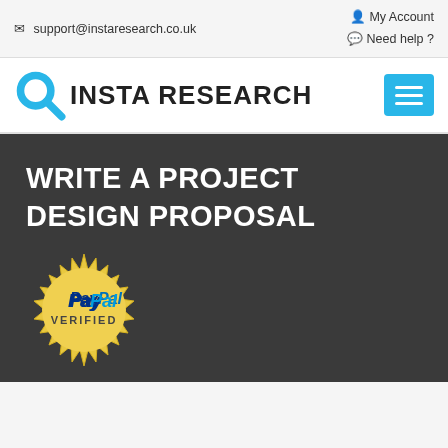✉ support@instaresearch.co.uk | 👤 My Account | 💬 Need help ?
INSTA RESEARCH
[Figure (other): Hamburger menu icon button in cyan/blue color]
WRITE A PROJECT DESIGN PROPOSAL
[Figure (logo): PayPal Verified gold seal badge with starburst border, PayPal text in blue and gold colors, VERIFIED text below]